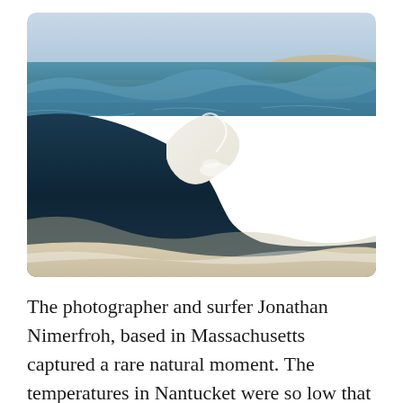[Figure (photo): Ocean waves at a beach in Nantucket, Massachusetts. A large wave is captured mid-break with a smooth curved white foam crest against a shadowed dark blue-green wave face. The background shows the ocean with more waves and a sandy shore/dunes under a pale blue sky.]
The photographer and surfer Jonathan Nimerfroh, based in Massachusetts captured a rare natural moment. The temperatures in Nantucket were so low that his camera actually